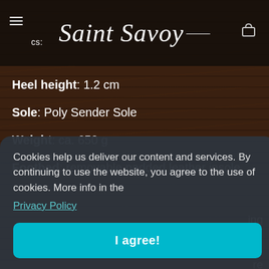Saint Savoy
Specs:
Heel height: 1.2 cm
Sole: Poly Sender Sole
Weight: ca. 650 g
Footbed: removable padded leather insole
Cookies help us deliver our content and services. By continuing to use the website, you agree to the use of cookies. More info in the Privacy Policy
I agree!